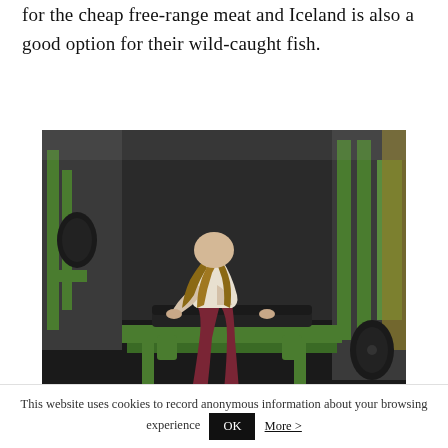for the cheap free-range meat and Iceland is also a good option for their wild-caught fish.
[Figure (photo): A woman wearing red leggings and a white top performing a back extension exercise on a green gym bench/hyperextension machine in a gym with green equipment.]
This website uses cookies to record anonymous information about your browsing experience